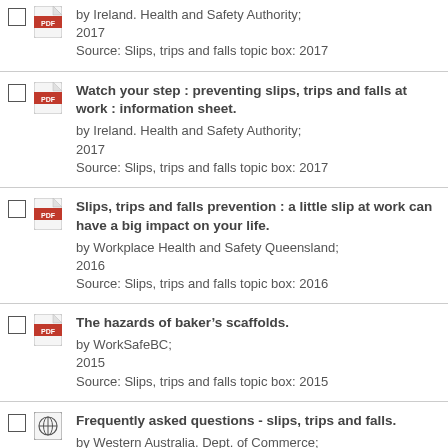by Ireland. Health and Safety Authority; 2017
Source: Slips, trips and falls topic box: 2017
Watch your step : preventing slips, trips and falls at work : information sheet.
by Ireland. Health and Safety Authority; 2017
Source: Slips, trips and falls topic box: 2017
Slips, trips and falls prevention : a little slip at work can have a big impact on your life.
by Workplace Health and Safety Queensland; 2016
Source: Slips, trips and falls topic box: 2016
The hazards of baker’s scaffolds.
by WorkSafeBC; 2015
Source: Slips, trips and falls topic box: 2015
Frequently asked questions - slips, trips and falls.
by Western Australia. Dept. of Commerce; 2014